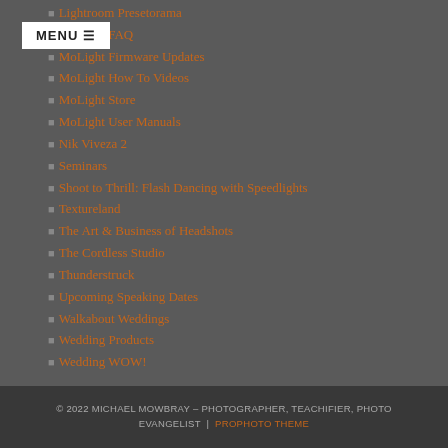Lightroom Presetorama
MoLight FAQ
MoLight Firmware Updates
MoLight How To Videos
MoLight Store
MoLight User Manuals
Nik Viveza 2
Seminars
Shoot to Thrill: Flash Dancing with Speedlights
Textureland
The Art & Business of Headshots
The Cordless Studio
Thunderstruck
Upcoming Speaking Dates
Walkabout Weddings
Wedding Products
Wedding WOW!
© 2022 MICHAEL MOWBRAY – PHOTOGRAPHER, TEACHIFIER, PHOTO EVANGELIST  |  PROPHOTO THEME